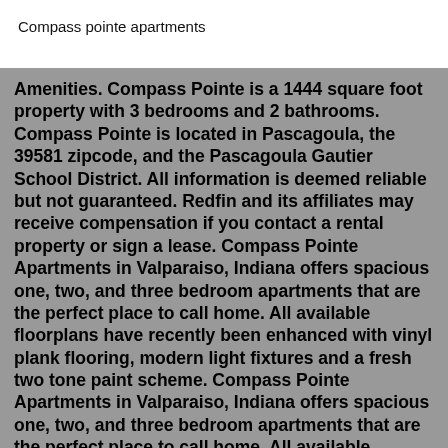Compass pointe apartments
Amenities. Compass Pointe is a 1444 square foot property with 3 bedrooms and 2 bathrooms. Compass Pointe is located in Pascagoula, the 39581 zipcode, and the Pascagoula Gautier School District. All information is deemed reliable but not guaranteed. Redfin and its affiliates may receive compensation if you contact a rental property or sign a lease. Compass Pointe Apartments in Valparaiso, Indiana offers spacious one, two, and three bedroom apartments that are the perfect place to call home. All available floorplans have recently been enhanced with vinyl plank flooring, modern light fixtures and a fresh two tone paint scheme. Compass Pointe Apartments in Valparaiso, Indiana offers spacious one, two, and three bedroom apartments that are the perfect place to call home. All available floorplans have recently been enhanced with vinyl plank flooring, modern